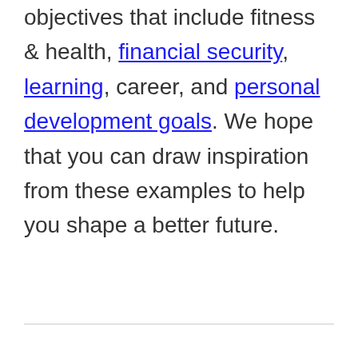post. Here, you'll discover a wide range of objectives that include fitness & health, financial security, learning, career, and personal development goals. We hope that you can draw inspiration from these examples to help you shape a better future.